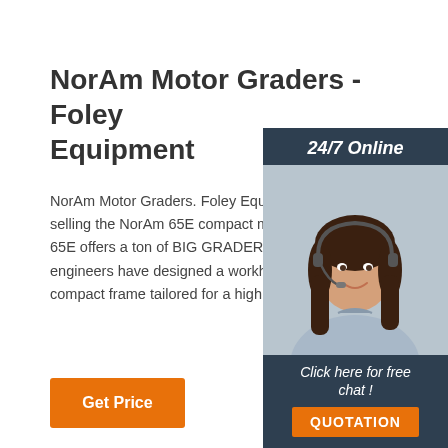NorAm Motor Graders - Foley Equipment
NorAm Motor Graders. Foley Equipment Com selling the NorAm 65E compact motorgrader. The 65E offers a ton of BIG GRADER features. No engineers have designed a workhorse machin compact frame tailored for a highly demanding
[Figure (infographic): Advertisement sidebar with dark navy background. Top: '24/7 Online' text in white italic. Middle: Photo of smiling woman with headset. Bottom: 'Click here for free chat!' text and orange QUOTATION button.]
Get Price